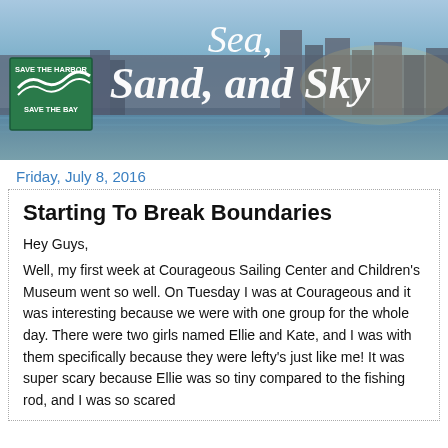[Figure (photo): Header banner image showing Boston skyline at dusk with water in the foreground. White cursive/bold text reads 'Sea, Sand, and Sky'. A green 'Save the Harbor / Save the Bay' logo badge is in the lower left.]
Friday, July 8, 2016
Starting To Break Boundaries
Hey Guys,
Well, my first week at Courageous Sailing Center and Children's Museum went so well. On Tuesday I was at Courageous and it was interesting because we were with one group for the whole day. There were two girls named Ellie and Kate, and I was with them specifically because they were lefty's just like me! It was super scary because Ellie was so tiny compared to the fishing rod, and I was so scared